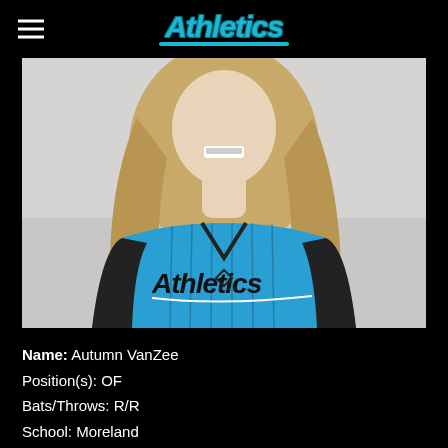Athletics
[Figure (photo): Athlete portrait photo of Autumn VanZee wearing a blue and black pinstripe Athletics jersey with long wavy blonde hair, smiling with braces]
Name: Autumn VanZee
Position(s): OF
Bats/Throws: R/R
School: Moreland